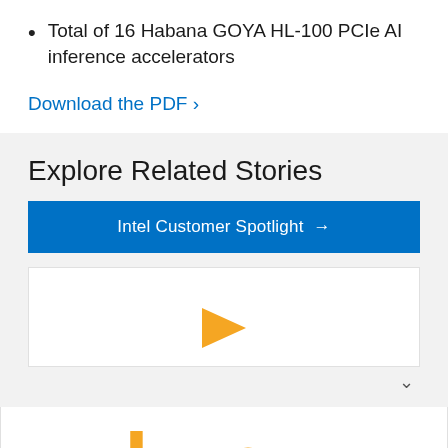Total of 16 Habana GOYA HL-100 PCIe AI inference accelerators
Download the PDF ›
Explore Related Stories
Intel Customer Spotlight →
[Figure (logo): Orange play button triangle icon partially visible]
[Figure (logo): Partial orange BOG logo letters in large stylized font]